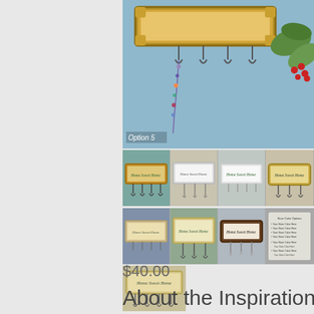[Figure (photo): Large product photo of a gold ornate framed jewelry/key holder with hooks, necklaces hanging, plant and red berries in background. Text overlay reads 'Option 5'.]
[Figure (photo): Row of 4 thumbnail product photos showing framed jewelry holders with 'Home Sweet Home' text in various frame colors: gold, white/cream, white, and tan/gold frames.]
[Figure (photo): Row of 4 thumbnail product photos showing framed jewelry holders in various frame colors: tan/natural, tan/cream, dark brown, and a text options list chart.]
[Figure (photo): Single thumbnail product photo of framed jewelry holder with 'Home Sweet Home' text in cream/natural frame.]
$40.00
About the Inspirational